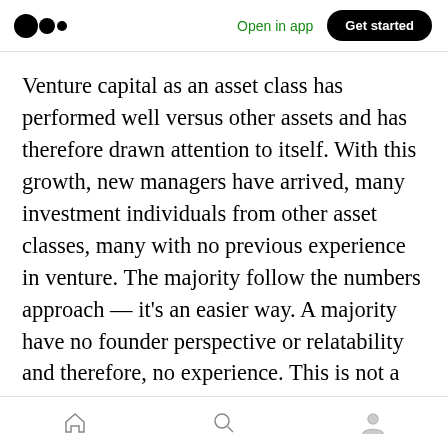Medium logo | Open in app | Get started
Venture capital as an asset class has performed well versus other assets and has therefore drawn attention to itself. With this growth, new managers have arrived, many investment individuals from other asset classes, many with no previous experience in venture. The majority follow the numbers approach — it's an easier way. A majority have no founder perspective or relatability and therefore, no experience. This is not a direct criticism, but it continues to entrench norms and only distances founders further. The standard 'norm', that over 50% of
Home | Search | Profile